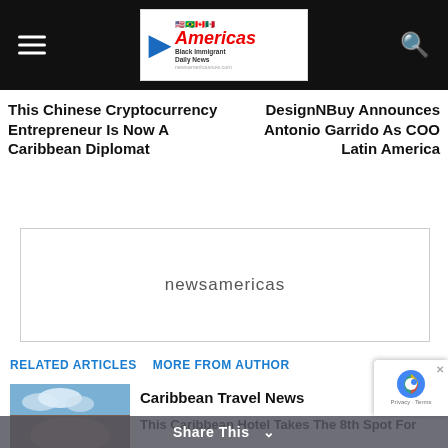Americas Black Immigrant Daily News
This Chinese Cryptocurrency Entrepreneur Is Now A Caribbean Diplomat
DesignNBuy Announces Antonio Garrido As COO Latin America
[Figure (logo): newsamericas advertisement placeholder box with text 'newsamericas']
RELATED ARTICLES   MORE FROM AUTHOR
Caribbean Travel News
[Figure (photo): Caribbean coastal scene with green hills, water, and buildings]
This Caribbean Hotel Takes The 8th Spot For
[Figure (photo): Partial image of a second article thumbnail]
Share This